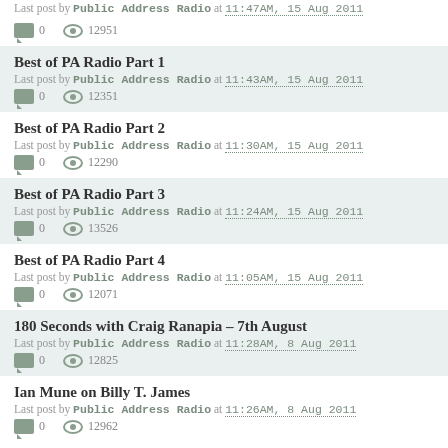Last post by Public Address Radio at 11:47AM, 15 Aug 2011
0  12951
Best of PA Radio Part 1
Last post by Public Address Radio at 11:43AM, 15 Aug 2011
0  12351
Best of PA Radio Part 2
Last post by Public Address Radio at 11:30AM, 15 Aug 2011
0  12290
Best of PA Radio Part 3
Last post by Public Address Radio at 11:24AM, 15 Aug 2011
0  13526
Best of PA Radio Part 4
Last post by Public Address Radio at 11:05AM, 15 Aug 2011
0  12071
180 Seconds with Craig Ranapia – 7th August
Last post by Public Address Radio at 11:28AM, 8 Aug 2011
0  12825
Ian Mune on Billy T. James
Last post by Public Address Radio at 11:26AM, 8 Aug 2011
0  12962